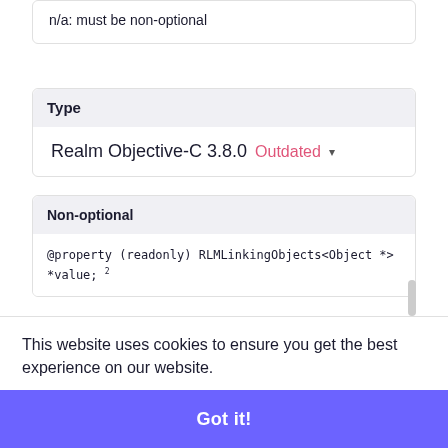n/a: must be non-optional
Type
Realm Objective-C 3.8.0 Outdated ▾
Non-optional
@property (readonly) RLMLinkingObjects<Object *> *value; 2
This website uses cookies to ensure you get the best experience on our website.
Learn more
Got it!